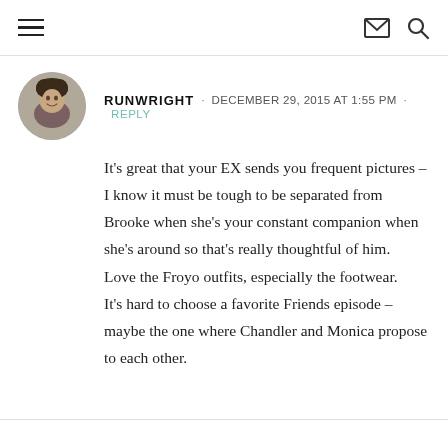Navigation header with hamburger menu, email icon, and search icon
[Figure (photo): Circular avatar photo of a person with curly hair]
RUNWRIGHT · DECEMBER 29, 2015 AT 1:55 PM · REPLY
It's great that your EX sends you frequent pictures – I know it must be tough to be separated from Brooke when she's your constant companion when she's around so that's really thoughtful of him. Love the Froyo outfits, especially the footwear. It's hard to choose a favorite Friends episode – maybe the one where Chandler and Monica propose to each other.